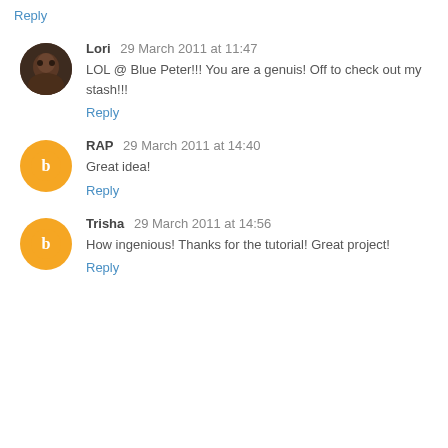Reply
Lori 29 March 2011 at 11:47
LOL @ Blue Peter!!! You are a genuis! Off to check out my stash!!!
Reply
RAP 29 March 2011 at 14:40
Great idea!
Reply
Trisha 29 March 2011 at 14:56
How ingenious! Thanks for the tutorial! Great project!
Reply